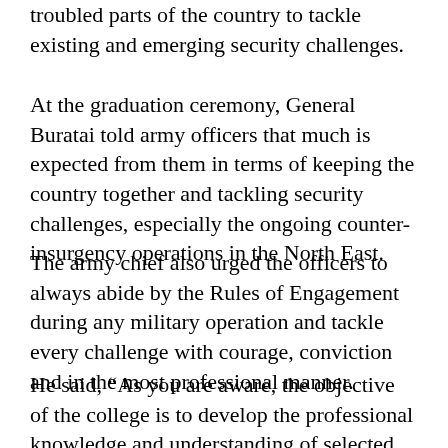troubled parts of the country to tackle existing and emerging security challenges.
At the graduation ceremony, General Buratai told army officers that much is expected from them in terms of keeping the country together and tackling security challenges, especially the ongoing counter-insurgency operations in the North East.
The army chief also urged the officers to always abide by the Rules of Engagement during any military operation and tackle every challenge with courage, conviction and in the most professional manner.
He said, “As you are aware, the objective of the college is to develop the professional knowledge and understanding of selected officers of the Armed Forces in order to